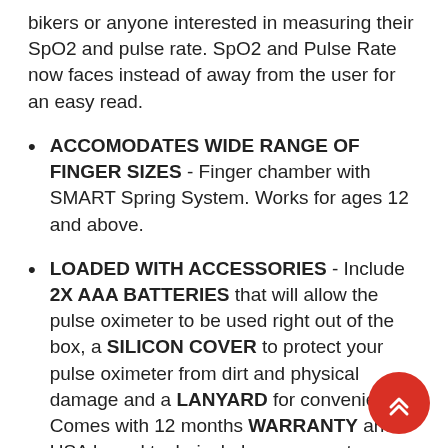bikers or anyone interested in measuring their SpO2 and pulse rate. SpO2 and Pulse Rate now faces instead of away from the user for an easy read.
ACCOMODATES WIDE RANGE OF FINGER SIZES - Finger chamber with SMART Spring System. Works for ages 12 and above.
LOADED WITH ACCESSORIES - Include 2X AAA BATTERIES that will allow the pulse oximeter to be used right out of the box, a SILICON COVER to protect your pulse oximeter from dirt and physical damage and a LANYARD for convenience. Comes with 12 months WARRANTY and USA based technical phone support.